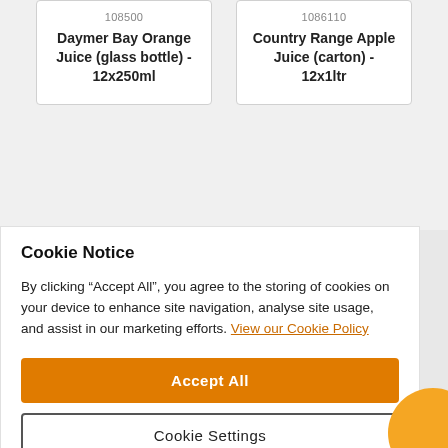108500
Daymer Bay Orange Juice (glass bottle) - 12x250ml
1086110
Country Range Apple Juice (carton) - 12x1ltr
More Tetley products available at Creed
Cookie Notice
By clicking “Accept All”, you agree to the storing of cookies on your device to enhance site navigation, analyse site usage, and assist in our marketing efforts. View our Cookie Policy
Accept All
Cookie Settings